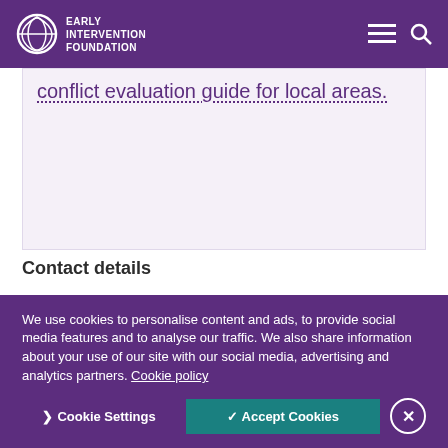Early Intervention Foundation
conflict evaluation guide for local areas.
Contact details
Georgina Atkins, Walsall's parenting lead for early help
We use cookies to personalise content and ads, to provide social media features and to analyse our traffic. We also share information about your use of our site with our social media, advertising and analytics partners. Cookie policy
Cookie Settings  ✓ Accept Cookies